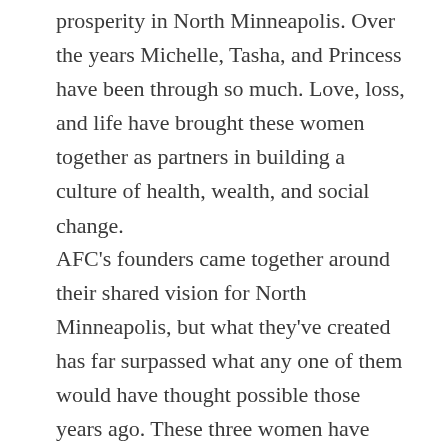prosperity in North Minneapolis. Over the years Michelle, Tasha, and Princess have been through so much. Love, loss, and life have brought these women together as partners in building a culture of health, wealth, and social change.
AFC's founders came together around their shared vision for North Minneapolis, but what they've created has far surpassed what any one of them would have thought possible those years ago. These three women have created an uncommon bond, and have formed a sisterhood through food. As sisters naturally do, they all still test each others' nerves on occasion, they still respect the sweat, and have nothing but love for each